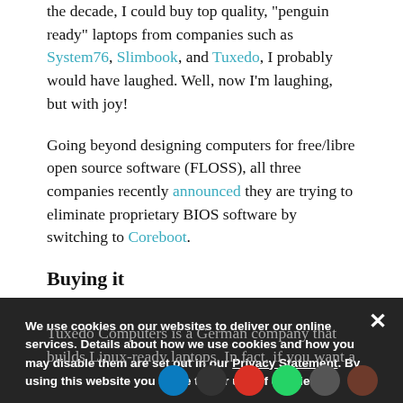the decade, I could buy top quality, "penguin ready" laptops from companies such as System76, Slimbook, and Tuxedo, I probably would have laughed. Well, now I'm laughing, but with joy!
Going beyond designing computers for free/libre open source software (FLOSS), all three companies recently announced they are trying to eliminate proprietary BIOS software by switching to Coreboot.
Buying it
Tuxedo Computers is a German company that builds Linux-ready laptops. In fact, if you want a
We use cookies on our websites to deliver our online services. Details about how we use cookies and how you may disable them are set out in our Privacy Statement. By using this website you agree to our use of cookies.